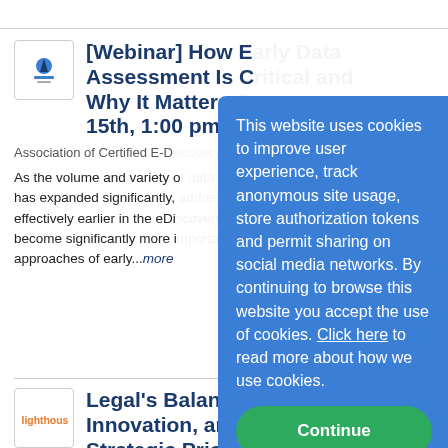[Webinar] How Early Data Assessment Is Critical and Why It Matters 15th, 1:00 pm - 2...
Association of Certified E-D...
As the volume and variety of data has expanded significantly, addressing it effectively earlier in the eDiscovery process become significantly more important. The approaches of early...more
Legal's Balancing Innovation, and A... Strategic Priori...
Lighthouse on 8/23/2022
As legal teams expand their responsibilities and business impact throughout their organizations, there's a delicate
This website uses cookies to improve user experience, track anonymous site usage, store authorization tokens and permit sharing on social media networks. By continuing to browse this website you accept the use of cookies. Click here to read more about how we use cookies.